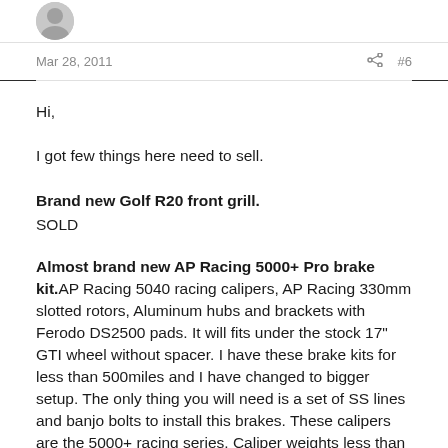[Figure (illustration): Avatar area with a grey circle avatar showing a chevron/person silhouette on white background]
Mar 28, 2011   #6
Hi,
I got few things here need to sell.
Brand new Golf R20 front grill.
SOLD
Almost brand new AP Racing 5000+ Pro brake kit. AP Racing 5040 racing calipers, AP Racing 330mm slotted rotors, Aluminum hubs and brackets with Ferodo DS2500 pads. It will fits under the stock 17" GTI wheel without spacer. I have these brake kits for less than 500miles and I have changed to bigger setup. The only thing you will need is a set of SS lines and banjo bolts to install this brakes. These calipers are the 5000+ racing series. Caliper weights less than 5lbs each.